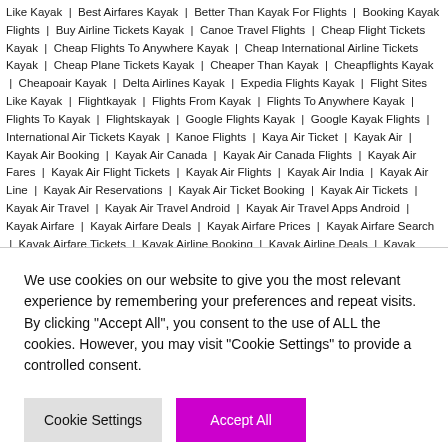Like Kayak  Best Airfares Kayak  Better Than Kayak For Flights  Booking Kayak Flights  Buy Airline Tickets Kayak  Canoe Travel Flights  Cheap Flight Tickets Kayak  Cheap Flights To Anywhere Kayak  Cheap International Airline Tickets Kayak  Cheap Plane Tickets Kayak  Cheaper Than Kayak  Cheapflights Kayak  Cheapoair Kayak  Delta Airlines Kayak  Expedia Flights Kayak  Flight Sites Like Kayak  Flightkayak  Flights From Kayak  Flights To Anywhere Kayak  Flights To Kayak  Flightskayak  Google Flights Kayak  Google Kayak Flights  International Air Tickets Kayak  Kanoe Flights  Kaya Air Ticket  Kayak Air  Kayak Air Booking  Kayak Air Canada  Kayak Air Canada Flights  Kayak Air Fares  Kayak Air Flight Tickets  Kayak Air Flights  Kayak Air India  Kayak Air Line  Kayak Air Reservations  Kayak Air Ticket Booking  Kayak Air Tickets  Kayak Air Travel  Kayak Air Travel Android  Kayak Air Travel Apps Android  Kayak Airfare  Kayak Airfare Deals  Kayak Airfare Prices  Kayak Airfare Search  Kayak Airfare Tickets  Kayak Airline Booking  Kayak Airline Deals  Kayak Airline Fares  Kayak Airline Fees  Kayak Airline Prices  Kayak Airline Reservations  Kayak Airline Search  Kayak Airline Tickets  Kayak Airline Travel  Kayak Airline Travel Sites  Kayak Airlines  Kayak Airlines Flights  Kayak Airticket  Kayak…
We use cookies on our website to give you the most relevant experience by remembering your preferences and repeat visits. By clicking "Accept All", you consent to the use of ALL the cookies. However, you may visit "Cookie Settings" to provide a controlled consent.